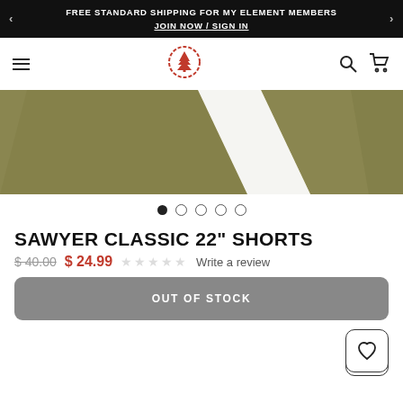FREE STANDARD SHIPPING FOR MY ELEMENT MEMBERS
JOIN NOW / SIGN IN
[Figure (logo): Element brand logo - red circular tree icon]
[Figure (photo): Olive/khaki colored shorts product image showing fabric detail, two panels visible]
SAWYER CLASSIC 22" SHORTS
$ 40.00  $ 24.99  ☆☆☆☆☆ Write a review
OUT OF STOCK